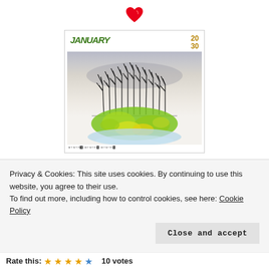[Figure (illustration): Red heart emoji icon at top center of page]
[Figure (illustration): Calendar page thumbnail showing a watercolor-style nature illustration with bare dark trees above a colorful green and yellow paint-splash blob on a light blue base, with January calendar header in green italic font and year '20 30' in gold, and small calendar grid at bottom]
Privacy & Cookies: This site uses cookies. By continuing to use this website, you agree to their use.
To find out more, including how to control cookies, see here: Cookie Policy
Close and accept
Rate this:
10 votes